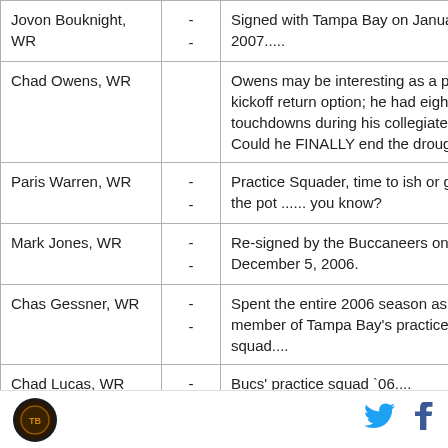| Player | - | Notes |
| --- | --- | --- |
| Jovon Bouknight, WR | - - | Signed with Tampa Bay on January 17, 2007..... |
| Chad Owens, WR |  | Owens may be interesting as a punt or kickoff return option; he had eight return touchdowns during his collegiate career. Could he FINALLY end the drought? |
| Paris Warren, WR | - - | Practice Squader, time to ish or get off the pot ...... you know? |
| Mark Jones, WR | - - | Re-signed by the Buccaneers on December 5, 2006. |
| Chas Gessner, WR | - - | Spent the entire 2006 season as a member of Tampa Bay's practice squad.... |
| Chad Lucas, WR | - - | Bucs' practice squad '06.... |
| David Boston, |  | For the Second Season in a row, David |
Logo | Twitter | Facebook